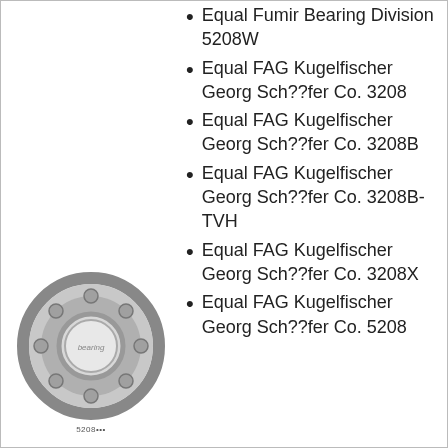Equal Fumir Bearing Division 5208W
Equal FAG Kugelfischer Georg Sch??fer Co. 3208
Equal FAG Kugelfischer Georg Sch??fer Co. 3208B
Equal FAG Kugelfischer Georg Sch??fer Co. 3208B-TVH
[Figure (photo): A ball bearing (angular contact bearing) shown face-on, circular metallic component with inner ring visible, small caption text below.]
Equal FAG Kugelfischer Georg Sch??fer Co. 3208X
Equal FAG Kugelfischer Georg Sch??fer Co. 5208